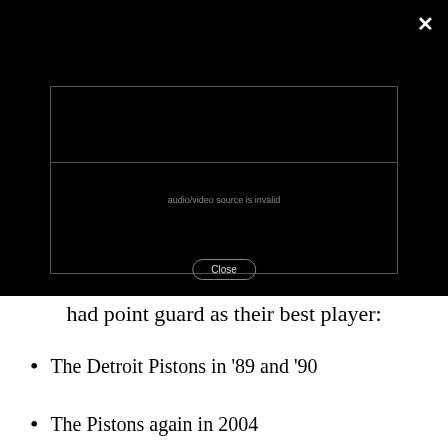…had point guard as their best player:
[Figure (screenshot): A black modal overlay showing a video player error message 'audio/video source is invalid' with a close button and an X in the top right corner]
had point guard as their best player:
The Detroit Pistons in '89 and '90
The Pistons again in 2004